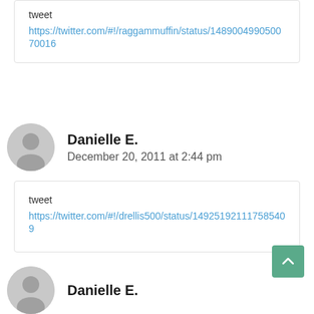tweet https://twitter.com/#!/raggammuffin/status/148900499050070016
Danielle E.
December 20, 2011 at 2:44 pm
tweet https://twitter.com/#!/drellis500/status/149251921117585409
Danielle E.